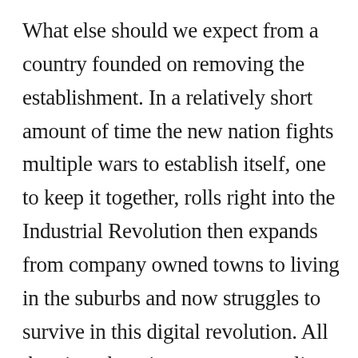What else should we expect from a country founded on removing the establishment. In a relatively short amount of time the new nation fights multiple wars to establish itself, one to keep it together, rolls right into the Industrial Revolution then expands from company owned towns to living in the suburbs and now struggles to survive in this digital revolution. All that time there is a status quo to live by. Even if its begrudgingly, it becomes accepted to work hard at the same place until retirement affords you to finally spend time living in the house you bought along the way for the kids who have since moved